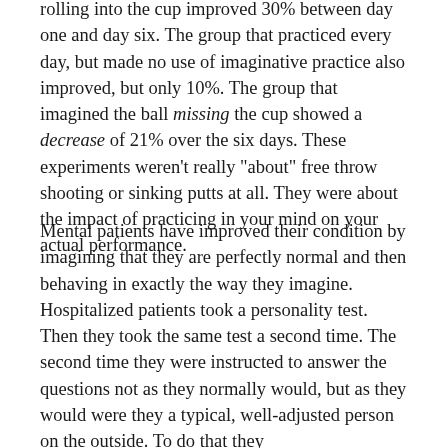rolling into the cup improved 30% between day one and day six. The group that practiced every day, but made no use of imaginative practice also improved, but only 10%. The group that imagined the ball missing the cup showed a decrease of 21% over the six days. These experiments weren't really "about" free throw shooting or sinking putts at all. They were about the impact of practicing in your mind on your actual performance.
Mental patients have improved their condition by imagining that they are perfectly normal and then behaving in exactly the way they imagine. Hospitalized patients took a personality test. Then they took the same test a second time. The second time they were instructed to answer the questions not as they normally would, but as they would were they a typical, well-adjusted person on the outside. To do that they